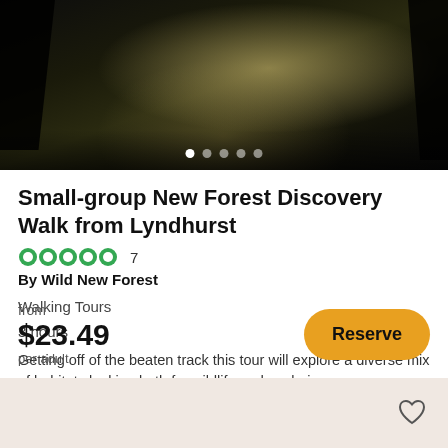[Figure (photo): Forest path with sunlight filtering through trees, dark moody tones with golden light in center]
Small-group New Forest Discovery Walk from Lyndhurst
●●●●● 7
By Wild New Forest
Walking Tours
3 hours
Getting off of the beaten track this tour will explore a diverse mix of habitats looking both for wildlife and exploring...
Taking safety measures
Free cancellation ⓘ
from
$23.49
per adult
Reserve